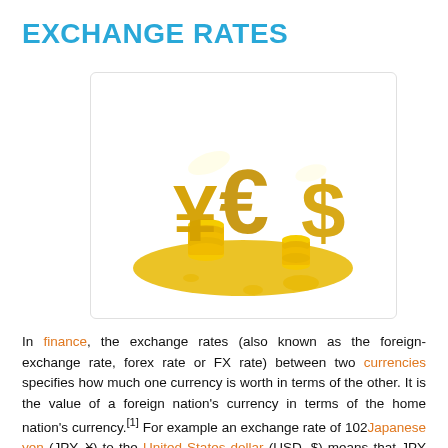EXCHANGE RATES
[Figure (illustration): 3D golden currency symbols (Yen ¥, Euro €, Dollar $) with stacked gold coins on a golden puddle surface, on white background]
In finance, the exchange rates (also known as the foreign-exchange rate, forex rate or FX rate) between two currencies specifies how much one currency is worth in terms of the other. It is the value of a foreign nation's currency in terms of the home nation's currency.[1] For example an exchange rate of 102Japanese yen (JPY, ¥) to the United States dollar (USD, $) means that JPY 102 is worth the same as USD 1.